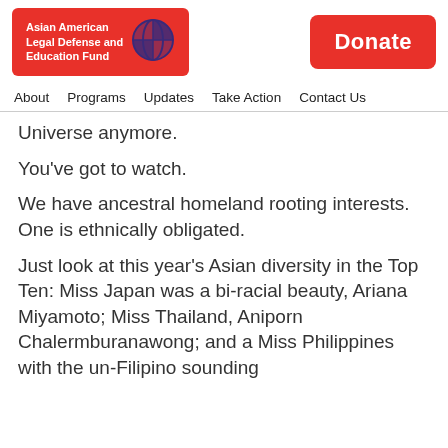[Figure (logo): Asian American Legal Defense and Education Fund logo — red rectangle with white text and purple globe/grid icon]
[Figure (other): Red Donate button in top right corner]
About  Programs  Updates  Take Action  Contact Us
Universe anymore.
You've got to watch.
We have ancestral homeland rooting interests. One is ethnically obligated.
Just look at this year's Asian diversity in the Top Ten: Miss Japan was a bi-racial beauty, Ariana Miyamoto; Miss Thailand, Aniporn Chalermburanawong; and a Miss Philippines with the un-Filipino sounding